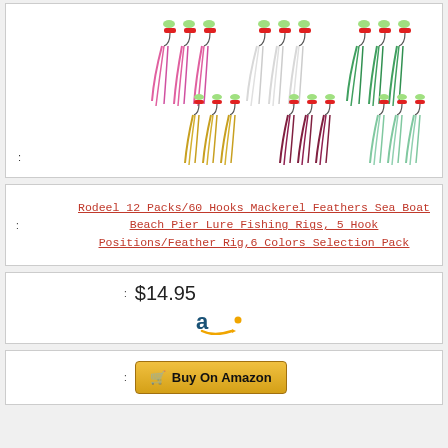[Figure (photo): Product photo of Rodeel 12 Packs/60 Hooks Mackerel Feathers fishing rigs in 6 colors (pink, white, green, yellow, dark red, light green) with feathered hooks arranged in rows]
:
: Rodeel 12 Packs/60 Hooks Mackerel Feathers Sea Boat Beach Pier Lure Fishing Rigs, 5 Hook Positions/Feather Rig,6 Colors Selection Pack
: $14.95
[Figure (logo): Amazon partial logo (orange/blue)]
: Buy On Amazon